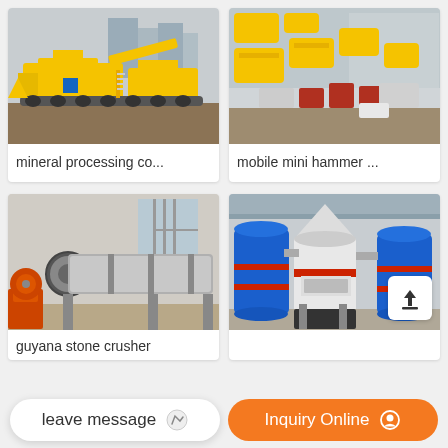[Figure (photo): Yellow mobile mineral processing equipment/crusher machines outdoors at industrial site]
mineral processing co...
[Figure (photo): Aerial view of yellow mobile mini hammer crusher machines and equipment at industrial yard]
mobile mini hammer ...
[Figure (photo): Large grey rotary drum/ball mill with orange base in industrial building]
guyana stone crusher
[Figure (photo): Blue and white industrial grinding mill machines in factory warehouse]
leave message
Inquiry Online